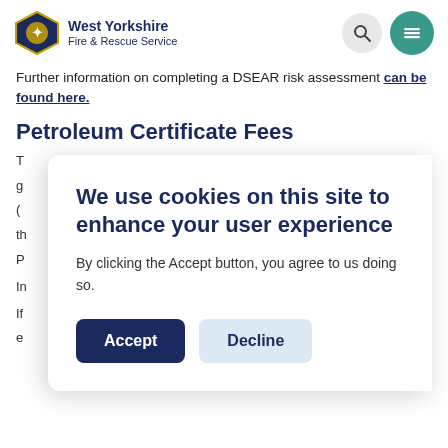West Yorkshire Fire & Rescue Service
Further information on completing a DSEAR risk assessment can be found here.
Petroleum Certificate Fees
T... g... (... th... P...
In...
If... e...
We use cookies on this site to enhance your user experience
By clicking the Accept button, you agree to us doing so.